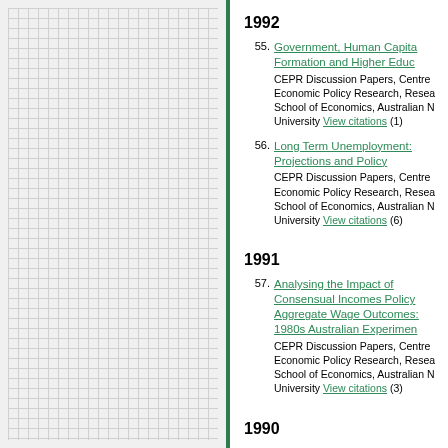[Figure (other): Gray gridded left panel with green right border]
1992
55. Government, Human Capital Formation and Higher Education - CEPR Discussion Papers, Centre Economic Policy Research, Research School of Economics, Australian National University View citations (1)
56. Long Term Unemployment: Projections and Policy - CEPR Discussion Papers, Centre Economic Policy Research, Research School of Economics, Australian National University View citations (6)
1991
57. Analysing the Impact of Consensual Incomes Policy on Aggregate Wage Outcomes: the 1980s Australian Experiment - CEPR Discussion Papers, Centre Economic Policy Research, Research School of Economics, Australian National University View citations (3)
1990
58. AN ANALYSIS OF THE